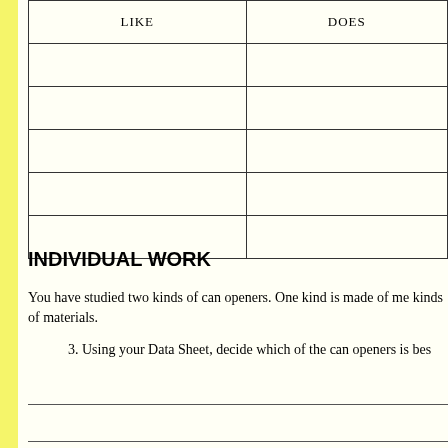| LIKE | DOES |
| --- | --- |
|  |  |
|  |  |
|  |  |
|  |  |
|  |  |
INDIVIDUAL WORK
You have studied two kinds of can openers. One kind is made of me kinds of materials.
3. Using your Data Sheet, decide which of the can openers is bes